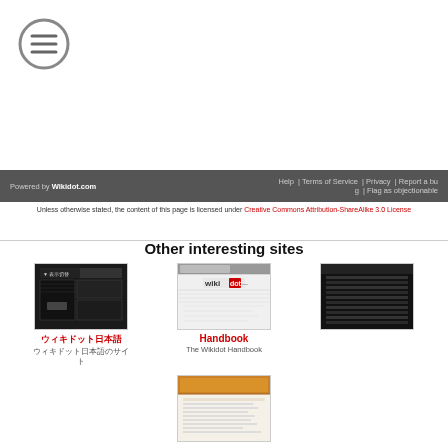[Figure (logo): Circular icon with three horizontal lines (hamburger menu icon), gray border]
Powered by Wikidot.com | Help | Terms of Service | Privacy | Report a bug | Flag as objectionable
Unless otherwise stated, the content of this page is licensed under Creative Commons Attribution-ShareAlike 3.0 License
Other interesting sites
[Figure (screenshot): Screenshot of a dark-themed website with Japanese/Chinese characters]
日本語文字サイト
日本語文字サイトの説明
[Figure (screenshot): Screenshot of Handbook site with Wikidot logo visible]
Handbook
The Wikidot Handbook
[Figure (screenshot): Screenshot of another dark-themed website]
[Figure (screenshot): Screenshot of a site with orange/warm colored header]